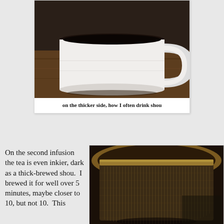[Figure (photo): A white mug filled with very dark black tea, viewed from above, sitting on a wooden surface]
on the thicker side, how I often drink shou
On the second infusion the tea is even inkier, dark as a thick-brewed shou. I brewed it for well over 5 minutes, maybe closer to 10, but not 10. This
[Figure (photo): Close-up of a stainless steel mesh tea infuser basket with dark tea staining, viewed from above]